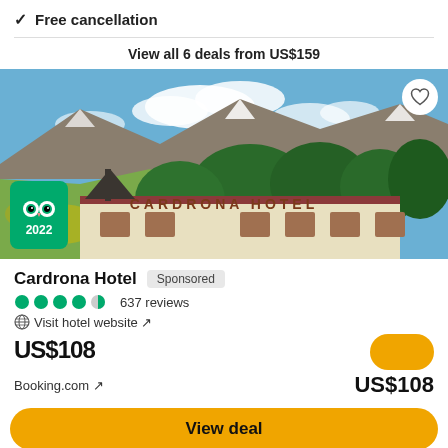✓ Free cancellation
View all 6 deals from US$159
[Figure (photo): Photo of Cardrona Hotel building with mountain backdrop and trees. A TripAdvisor 2022 Travelers' Choice badge is visible in the lower-left corner. A favorite (heart) button is in the upper-right corner.]
Cardrona Hotel  Sponsored
●●●●◐ 637 reviews
🌐 Visit hotel website ↗
US$108
Booking.com ↗  US$108
View deal